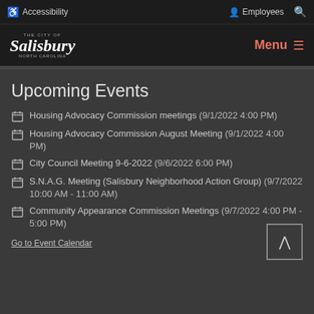Accessibility  Employees  [Search]
The City of Salisbury North Carolina  Menu
Upcoming Events
Housing Advocacy Commission meetings (9/1/2022 4:00 PM)
Housing Advocacy Commission August Meeting (9/1/2022 4:00 PM)
City Council Meeting 9-6-2022 (9/6/2022 6:00 PM)
S.N.A.G. Meeting (Salisbury Neighborhood Action Group) (9/7/2022 10:00 AM - 11:00 AM)
Community Appearance Commission Meetings (9/7/2022 4:00 PM - 5:00 PM)
Go to Event Calendar